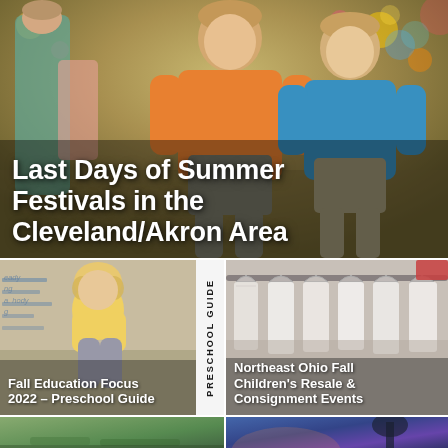[Figure (photo): Two boys running at a summer festival, one in an orange polo shirt (center), one in a teal/blue polo shirt (right), with an adult in a teal jacket visible at left. Fair/festival background with colorful lights and booths. Bold white title text overlaid at bottom.]
Last Days of Summer Festivals in the Cleveland/Akron Area
[Figure (photo): Young girl with curly blonde hair crouching on the ground, wearing a yellow top and gray leggings, with chalk writing visible in background. A vertical strip on the right reads 'PRESCHOOL GUIDE'. Text overlay at bottom reads 'Fall Education Focus 2022 – Preschool Guide'.]
[Figure (photo): Close-up of white children's clothing on hangers at a resale/consignment event, with red item visible at upper right. Text overlay at bottom reads 'Northeast Ohio Fall Children's Resale & Consignment Events'.]
[Figure (photo): Bottom-left partial image showing green outdoor scene, partially cropped.]
[Figure (photo): Bottom-right partial image showing blue/purple sky or twilight scene with tree silhouette, partially cropped.]